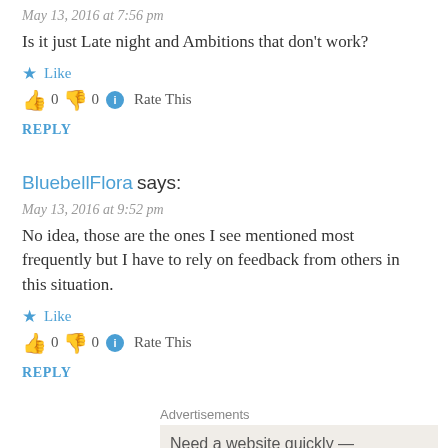May 13, 2016 at 7:56 pm
Is it just Late night and Ambitions that don't work?
Like
👍 0 👎 0 ℹ Rate This
REPLY
BluebellFlora says:
May 13, 2016 at 9:52 pm
No idea, those are the ones I see mentioned most frequently but I have to rely on feedback from others in this situation.
Like
👍 0 👎 0 ℹ Rate This
REPLY
Advertisements
Need a website quickly —